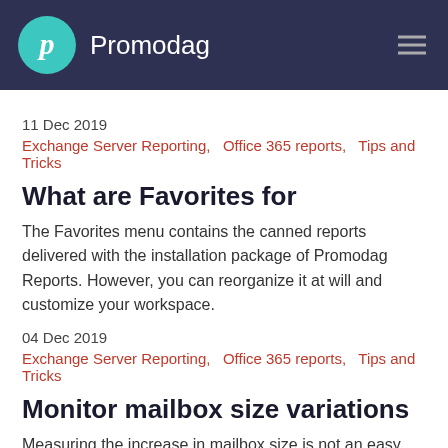Promodag
11 Dec 2019
Exchange Server Reporting,  Office 365 reports,  Tips and Tricks
What are Favorites for
The Favorites menu contains the canned reports delivered with the installation package of Promodag Reports. However, you can reorganize it at will and customize your workspace.
04 Dec 2019
Exchange Server Reporting,  Office 365 reports,  Tips and Tricks
Monitor mailbox size variations
Measuring the increase in mailbox size is not an easy task as Exchange does not keep a history of it. You can